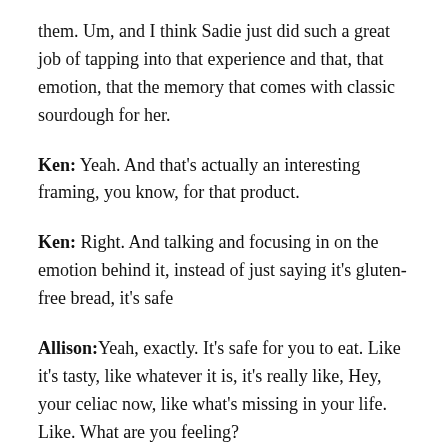them. Um, and I think Sadie just did such a great job of tapping into that experience and that, that emotion, that the memory that comes with classic sourdough for her.
Ken: Yeah. And that's actually an interesting framing, you know, for that product.
Ken: Right. And talking and focusing in on the emotion behind it, instead of just saying it's gluten-free bread, it's safe
Allison: Yeah, exactly. It's safe for you to eat. Like it's tasty, like whatever it is, it's really like, Hey, your celiac now, like what's missing in your life. Like. What are you feeling?